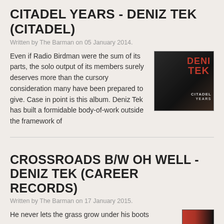CITADEL YEARS - DENIZ TEK (CITADEL)
Written by The Barman on 05 January 2014.
[Figure (photo): Album cover for Citadel Years by Deniz Tek - black and white photo of a man with red text overlay]
Even if Radio Birdman were the sum of its parts, the solo output of its members surely deserves more than the cursory consideration many have been prepared to give. Case in point is this album. Deniz Tek has built a formidable body-of-work outside the framework of
CROSSROADS B/W OH WELL - DENIZ TEK (CAREER RECORDS)
Written by The Barman on 17 January 2015.
[Figure (photo): Album cover partially visible - red and black design with text]
He never lets the grass grow under his boots